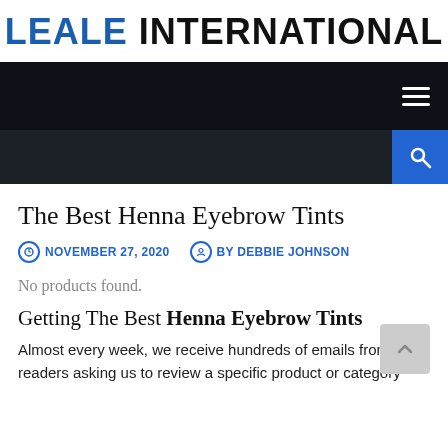LEALE INTERNATIONAL
The Best Henna Eyebrow Tints
NOVEMBER 27, 2020   BY DEBBIE JOHNSON
No products found.
Getting The Best Henna Eyebrow Tints
Almost every week, we receive hundreds of emails from readers asking us to review a specific product or category